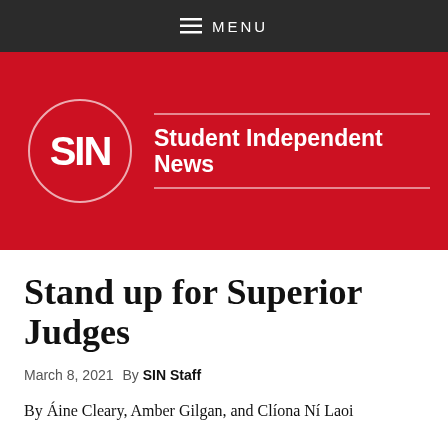≡ MENU
[Figure (logo): Student Independent News (SIN) logo: white circle with SIN text on red background, with 'Student Independent News' text to the right]
Stand up for Superior Judges
March 8, 2021  By SIN Staff
By Áine Cleary, Amber Gilgan, and Clíona Ní Laoi